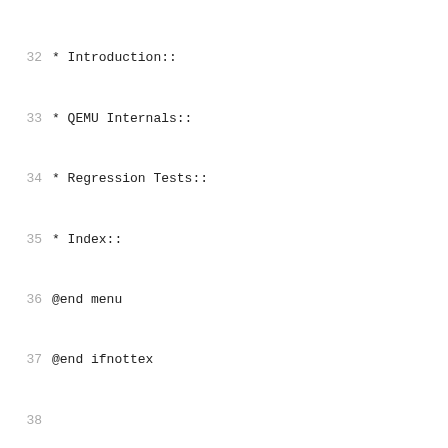32   * Introduction::
33   * QEMU Internals::
34   * Regression Tests::
35   * Index::
36   @end menu
37   @end ifnottex
38
39   @contents
40
41   @node Introduction
42   @chapter Introduction
43
44   @menu
45   * intro_features::          Features
46   * intro_x86_emulation::     x86 and x86-64 emula
47   * intro_arm_emulation::     ARM emulation
48   * intro_mips_emulation::    MIPS emulation
49   * intro_ppc_emulation::     PowerPC emulation
50   * intro_sparc_emulation::   Sparc32 and Sparc64 e
51   * intro_xtensa_emulation::  Xtensa emulation
52   * intro_other_emulation::   Other CPU emulation